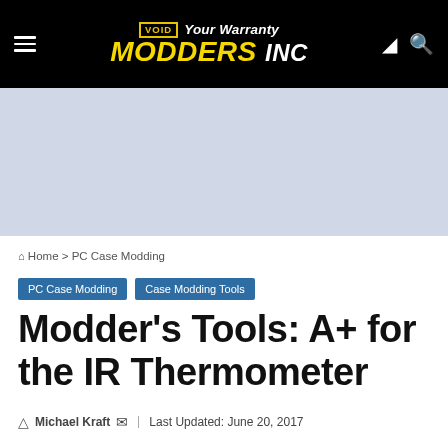VOID Your Warranty MODDERS INC
[Figure (other): Advertisement banner area - blue/grey background]
Home > PC Case Modding
PC Case Modding  Case Modding Tools
Modder's Tools: A+ for the IR Thermometer
Michael Kraft  Last Updated: June 20, 2017